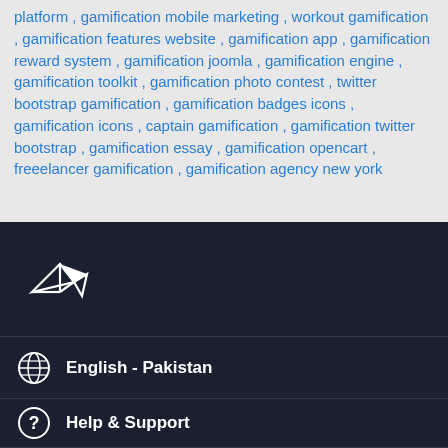platform , gamification mobile marketing , workout gamification , gamification features website , gamification app , gamification reward system , gamification joomla , gamification engine , gamification toolkit , gamification photo contest , twitter bootstrap gamification , gamification badges icons , gamification icons , captain gamification , gamification twitter bootstrap , gamification essay , gamification opencart , freeelancer gamification , gamification agency new york
[Figure (logo): Freelancer logo: white origami bird/arrow icon on dark navy background]
English - Pakistan
Help & Support